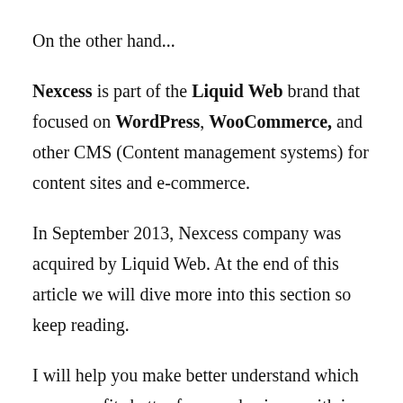On the other hand...
Nexcess is part of the Liquid Web brand that focused on WordPress, WooCommerce, and other CMS (Content management systems) for content sites and e-commerce.
In September 2013, Nexcess company was acquired by Liquid Web. At the end of this article we will dive more into this section so keep reading.
I will help you make better understand which company fits better for your business with in-depth reviews.